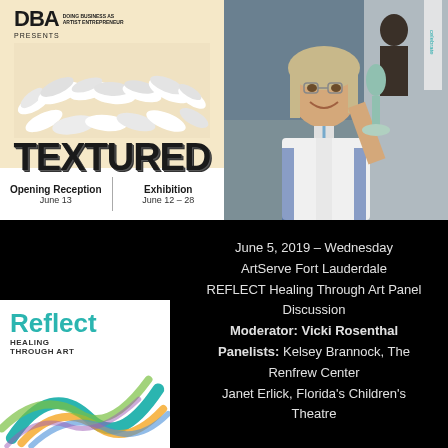[Figure (illustration): DBA Doing Business as Artist Entrepreneur presents TEXTURED exhibition poster with decorative white sculptural floral elements. Opening Reception June 13, Exhibition June 12-28.]
[Figure (photo): A smiling woman holding a sculptural artwork at an art event or gallery.]
[Figure (logo): Reflect Healing Through Art logo with colorful abstract art strokes.]
June 5, 2019 – Wednesday
ArtServe Fort Lauderdale
REFLECT Healing Through Art Panel Discussion
Moderator: Vicki Rosenthal
Panelists: Kelsey Brannock, The Renfrew Center
Janet Erlick, Florida's Children's Theatre